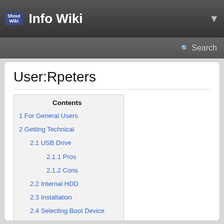Info Wiki
User:Rpeters
| Contents |
| --- |
| 1  For General Users |
| 2  Getting Technical |
| 2.1  USB Drive |
| 2.1.1  Pros |
| 2.1.2  Cons |
| 2.2  Internal HDD |
| 2.3  Installation |
| 2.4  Selecting Boot Device |
| 3  Strictly for Geeks |
| 4  Bootloaders |
| 4.1  Elilo |
| 4.2  GRUB Legacy (aka 0.97 ) |
| 4.3  GRUB (aka GRUB 2 ) |
| 4.3.1  "on-the-fly" Mode |
| 4.3.2  Menu mode |
| 4.3.3  Rescue mode |
| 4.4  ReFind |
| 4.4.1  Rescue mode |